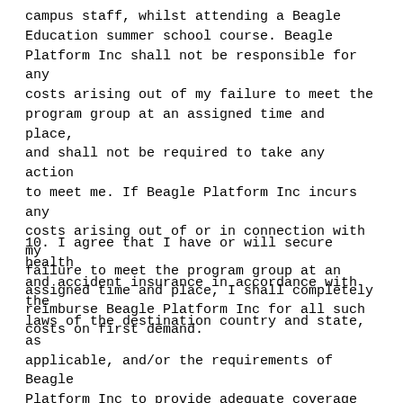campus staff, whilst attending a Beagle Education summer school course. Beagle Platform Inc shall not be responsible for any costs arising out of my failure to meet the program group at an assigned time and place, and shall not be required to take any action to meet me. If Beagle Platform Inc incurs any costs arising out of or in connection with my failure to meet the program group at an assigned time and place, I shall completely reimburse Beagle Platform Inc for all such costs on first demand.
10. I agree that I have or will secure health and accident insurance in accordance with the laws of the destination country and state, as applicable, and/or the requirements of Beagle Platform Inc to provide adequate coverage for any accidents, injuries or illness that I may sustain or experience while participating in the program. I certify that I have confirmed that my health insurance covers (I understand